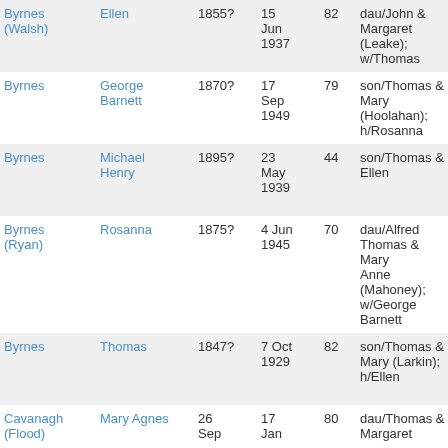| Surname | Given Name | Birth | Death | Age | Notes | Source |
| --- | --- | --- | --- | --- | --- | --- |
| Byrnes (Walsh) | Ellen | 1855? | 15 Jun 1937 | 82 | dau/John & Margaret (Leake); w/Thomas | Mou Car Cat NSW |
| Byrnes | George Barnett | 1870? | 17 Sep 1949 | 79 | son/Thomas & Mary (Hoolahan); h/Rosanna | Mou Car Cat NSW |
| Byrnes | Michael Henry | 1895? | 23 May 1939 | 44 | son/Thomas & Ellen | Mou Car Cat NSW |
| Byrnes (Ryan) | Rosanna | 1875? | 4 Jun 1945 | 70 | dau/Alfred Thomas & Mary Anne (Mahoney); w/George Barnett | Mou Car Cat NSW |
| Byrnes | Thomas | 1847? | 7 Oct 1929 | 82 | son/Thomas & Mary (Larkin); h/Ellen | Mou Car Cat NSW |
| Cavanagh (Flood) | Mary Agnes | 26 Sep | 17 Jan | 80 | dau/Thomas & Margaret | Mou Car |